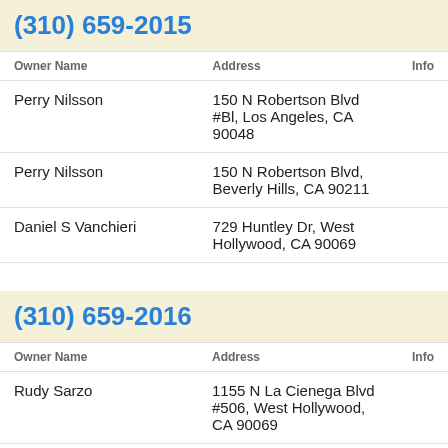(310) 659-2015
| Owner Name | Address | Info |
| --- | --- | --- |
| Perry Nilsson | 150 N Robertson Blvd #Bl, Los Angeles, CA 90048 |  |
| Perry Nilsson | 150 N Robertson Blvd, Beverly Hills, CA 90211 |  |
| Daniel S Vanchieri | 729 Huntley Dr, West Hollywood, CA 90069 |  |
(310) 659-2016
| Owner Name | Address | Info |
| --- | --- | --- |
| Rudy Sarzo | 1155 N La Cienega Blvd #506, West Hollywood, CA 90069 |  |
(310) 659-2017
| Owner Name | Address | Info |
| --- | --- | --- |